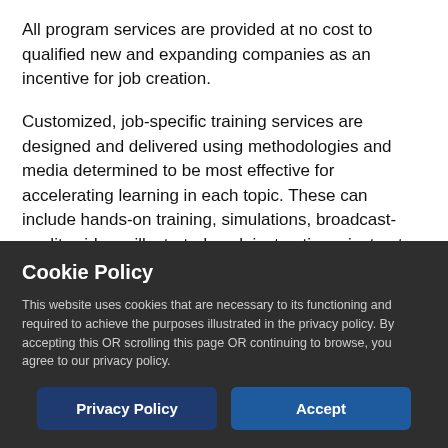All program services are provided at no cost to qualified new and expanding companies as an incentive for job creation.
Customized, job-specific training services are designed and delivered using methodologies and media determined to be most effective for accelerating learning in each topic. These can include hands-on training, simulations, broadcast-quality videos, illustrated work instructions, instructor-led classroom sessions, animations, and e-learning modules. All company-specific materials developed during the project become
Cookie Policy
This website uses cookies that are necessary to its functioning and required to achieve the purposes illustrated in the privacy policy. By accepting this OR scrolling this page OR continuing to browse, you agree to our privacy policy.
Privacy Policy | Accept